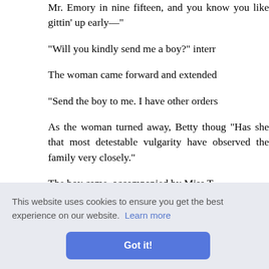Mr. Emory in nine fifteen, and you know you like gittin' up early—"
"Will you kindly send me a boy?" interr
The woman came forward and extended
"Send the boy to me. I have other orders
As the woman turned away, Betty thoug "Has she that most detestable vulgarity have observed the family very closely."
The boy came, accompanied by Miss T Betty han
ne back es of wo
hings sh such lett
deliver and to the post office such possibly read. The boy went his way.
[Figure (screenshot): Cookie consent banner overlay with text 'This website uses cookies to ensure you get the best experience on our website. Learn more' and a blue 'Got it!' button]